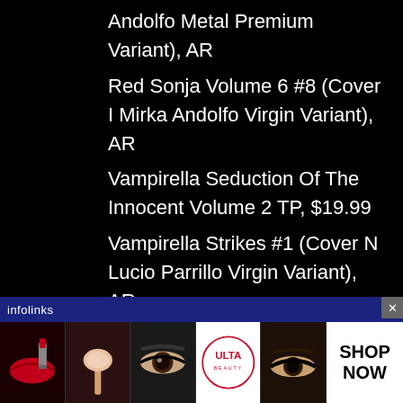Andolfo Metal Premium Variant), AR
Red Sonja Volume 6 #8 (Cover I Mirka Andolfo Virgin Variant), AR
Vampirella Seduction Of The Innocent Volume 2 TP, $19.99
Vampirella Strikes #1 (Cover N Lucio Parrillo Virgin Variant), AR
Vampirella Strikes #1 (Cover O Junggeun Yoon Virgin Variant), AR
Vampirella Volume 5 #16 (Ken Haeser Gem Mint Variant Cover), $25.00
[Figure (screenshot): Infolinks advertisement banner with ULTA Beauty makeup ad showing lipstick, makeup brush, eye makeup, ULTA logo, and eye with text SHOP NOW]